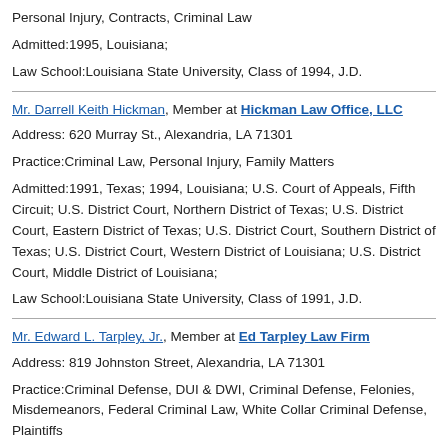Personal Injury, Contracts, Criminal Law
Admitted:1995, Louisiana;
Law School:Louisiana State University, Class of 1994, J.D.
Mr. Darrell Keith Hickman, Member at Hickman Law Office, LLC
Address: 620 Murray St., Alexandria, LA 71301
Practice:Criminal Law, Personal Injury, Family Matters
Admitted:1991, Texas; 1994, Louisiana; U.S. Court of Appeals, Fifth Circuit; U.S. District Court, Northern District of Texas; U.S. District Court, Eastern District of Texas; U.S. District Court, Southern District of Texas; U.S. District Court, Western District of Louisiana; U.S. District Court, Middle District of Louisiana;
Law School:Louisiana State University, Class of 1991, J.D.
Mr. Edward L. Tarpley, Jr., Member at Ed Tarpley Law Firm
Address: 819 Johnston Street, Alexandria, LA 71301
Practice:Criminal Defense, DUI & DWI, Criminal Defense, Felonies, Misdemeanors, Federal Criminal Law, White Collar Criminal Defense, Plaintiffs